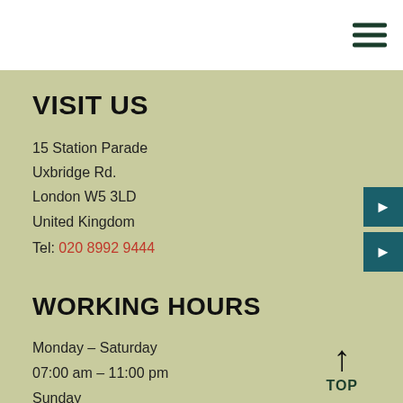[Figure (other): Hamburger menu icon with three horizontal dark green lines in top-right corner of white header bar]
VISIT US
15 Station Parade
Uxbridge Rd.
London W5 3LD
United Kingdom
Tel: 020 8992 9444
WORKING HOURS
Monday – Saturday
07:00 am – 11:00 pm
Sunday
08:00 am – 11:00 pm